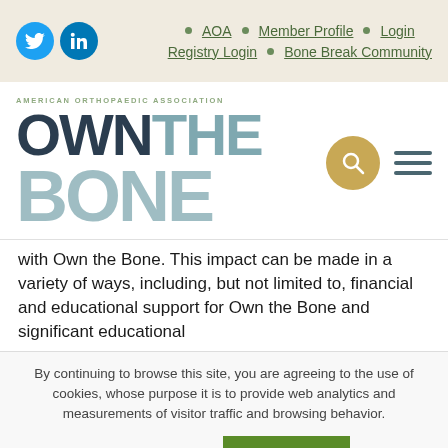AOA · Member Profile · Login · Registry Login · Bone Break Community
[Figure (logo): Own the Bone logo with American Orthopaedic Association branding, search icon, and hamburger menu]
with Own the Bone. This impact can be made in a variety of ways, including, but not limited to, financial and educational support for Own the Bone and significant educational
By continuing to browse this site, you are agreeing to the use of cookies, whose purpose it is to provide web analytics and measurements of visitor traffic and browsing behavior.
Cookie settings   ACCEPT